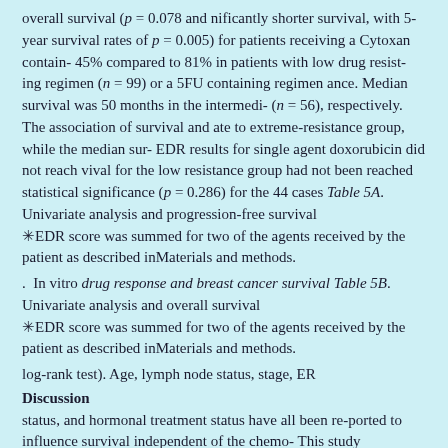overall survival (p = 0.078 and nificantly shorter survival, with 5-year survival rates of p = 0.005) for patients receiving a Cytoxan contain- 45% compared to 81% in patients with low drug resisting regimen (n = 99) or a 5FU containing regimen ance. Median survival was 50 months in the intermedi- (n = 56), respectively. The association of survival and ate to extreme-resistance group, while the median sur- EDR results for single agent doxorubicin did not reach vival for the low resistance group had not been reached statistical significance (p = 0.286) for the 44 cases Table 5A. Univariate analysis and progression-free survival ✳EDR score was summed for two of the agents received by the patient as described inMaterials and methods.
. In vitro drug response and breast cancer survival Table 5B. Univariate analysis and overall survival ✳EDR score was summed for two of the agents received by the patient as described inMaterials and methods.
log-rank test). Age, lymph node status, stage, ER
Discussion
status, and hormonal treatment status have all been re-ported to influence survival independent of the chemo- This study demonstrated a significant association the cytotoxic regimen. In this also